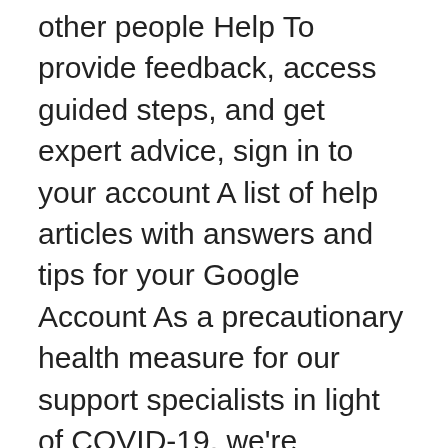other people Help To provide feedback, access guided steps, and get expert advice, sign in to your account A list of help articles with answers and tips for your Google Account As a precautionary health measure for our support specialists in light of COVID-19, we're operating with a limited team. If you need help with a product for which you had trouble contacting support over the phone, consult its product-specific Help Centre. See all opportunities to distribute your content for free across Google including gadgets, product search, local business center and books.
You'll get $20 Fi credit when you join Google Fi. Connect with the Google team, an authorized partner, or explore popular online resources. Help is available from Google 24/7. Issues and Questions